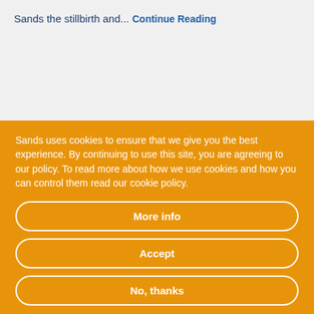Sands the stillbirth and...
Continue Reading
Sands uses cookies to ensure that we give you the best experience. By continuing to use this site, you are agreeing to our policy. To read more about how we use cookies and how you can control them read our cookie policy.
More info
Accept
No, thanks